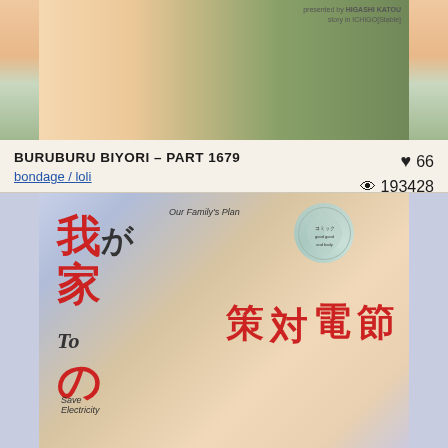[Figure (illustration): Top cropped manga/anime style illustration showing partial figures with beige and green tones]
BURUBURU BIYORI – PART 1679
bondage / loli
♥ 66
👁 193428
17/04/2020
[Figure (illustration): Manga cover art showing Japanese characters (我が家の節電対策) with anime-style figures, title text includes 'Our Family's Plan' and 'Save Electricity' in English]